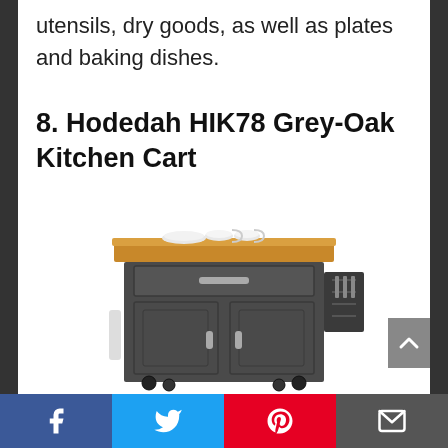utensils, dry goods, as well as plates and baking dishes.
8. Hodedah HIK78 Grey-Oak Kitchen Cart
[Figure (photo): Photo of the Hodedah HIK78 Grey-Oak Kitchen Cart, a dark grey kitchen island cart with a wooden butcher block top, a single drawer with metal handle, two cabinet doors with silver handles, side-mounted utensil rack, and wheeled base. Items like plates and cups are displayed on top.]
Social share bar with Facebook, Twitter, Pinterest, and email icons